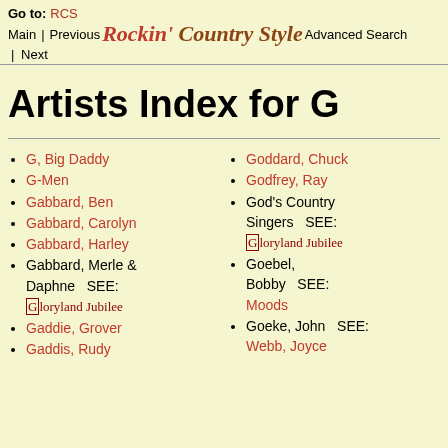Go to: RCS Main | Previous Rockin' Country Style Advanced Search | Next
Artists Index for G
G, Big Daddy
G-Men
Gabbard, Ben
Gabbard, Carolyn
Gabbard, Harley
Gabbard, Merle & Daphne SEE: Gloryland Jubilee
Gaddie, Grover
Gaddis, Rudy
Goddard, Chuck
Godfrey, Ray
God's Country Singers SEE: Gloryland Jubilee
Goebel, Bobby SEE: Moods
Goeke, John SEE: Webb, Joyce